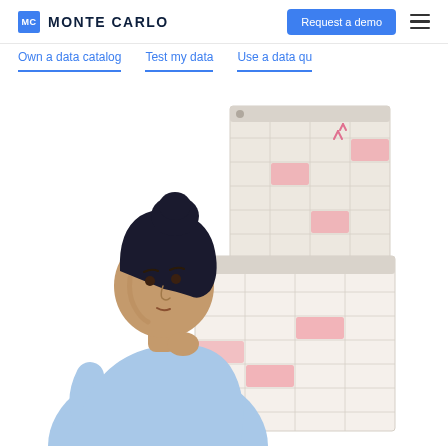MC MONTE CARLO | Request a demo
Own a data catalog   Test my data   Use a data qu
[Figure (illustration): Flat illustration of a woman with dark hair in a bun, wearing a light blue top, resting her chin on her hand thoughtfully. Behind her are two overlapping spreadsheet/table grids with some cells highlighted in pink/rose color, with small exclamation/alert marks near them suggesting data quality issues.]